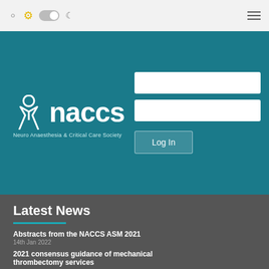NACCS website header with search, theme toggle, and hamburger menu icons
[Figure (logo): NACCS logo — stylized figure icon in white with text 'naccs' and subtitle 'Neuro Anaesthesia & Critical Care Society' on teal background, with login form fields and Log In button]
Latest News
Abstracts from the NACCS ASM 2021 — 14th Jan 2022
2021 consensus guidance of mechanical thrombectomy services